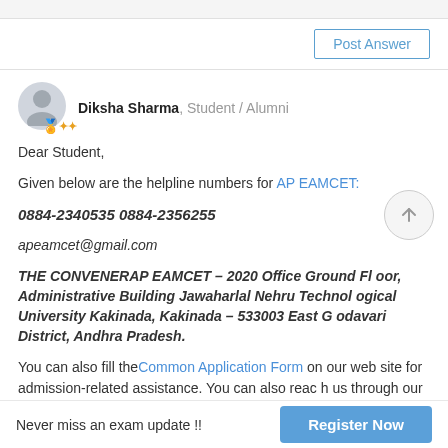Post Answer
Diksha Sharma, Student / Alumni
Dear Student,
Given below are the helpline numbers for AP EAMCET:
0884-2340535 0884-2356255
apeamcet@gmail.com
THE CONVENERAP EAMCET – 2020 Office Ground Floor, Administrative Building Jawaharlal Nehru Technological University Kakinada, Kakinada – 533003 East Godavari District, Andhra Pradesh.
You can also fill the Common Application Form on our web site for admission-related assistance. You can also reach us through our IVRS Number - 1800-572-9877
Never miss an exam update !!  Register Now